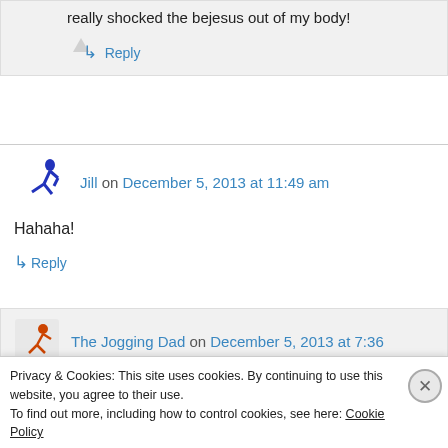really shocked the bejesus out of my body!
↳ Reply
Jill on December 5, 2013 at 11:49 am
Hahaha!
↳ Reply
The Jogging Dad on December 5, 2013 at 7:36
Privacy & Cookies: This site uses cookies. By continuing to use this website, you agree to their use. To find out more, including how to control cookies, see here: Cookie Policy
Close and accept